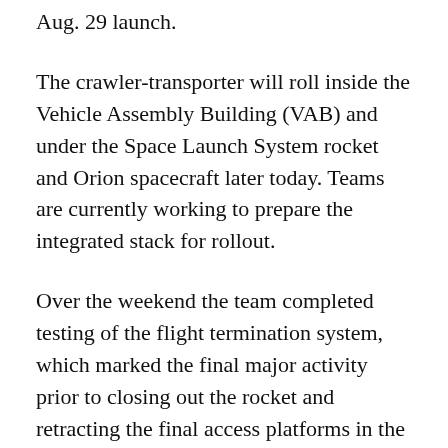Aug. 29 launch.
The crawler-transporter will roll inside the Vehicle Assembly Building (VAB) and under the Space Launch System rocket and Orion spacecraft later today. Teams are currently working to prepare the integrated stack for rollout.
Over the weekend the team completed testing of the flight termination system, which marked the final major activity prior to closing out the rocket and retracting the final access platforms in the VAB.
The agency will provide a live stream of the rollout beginning at 3 p.m. EDT Tuesday, Aug.